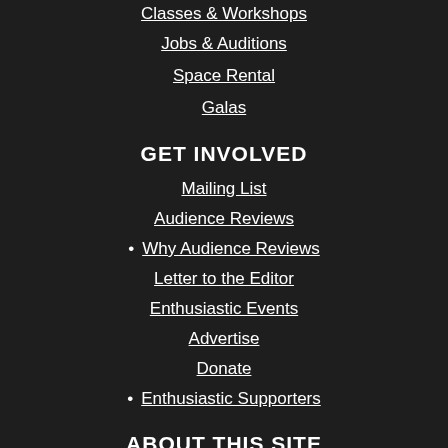Classes & Workshops
Jobs & Auditions
Space Rental
Galas
GET INVOLVED
Mailing List
Audience Reviews
• Why Audience Reviews
Letter to the Editor
Enthusiastic Events
Advertise
Donate
• Enthusiastic Supporters
ABOUT THIS SITE
Who We Are